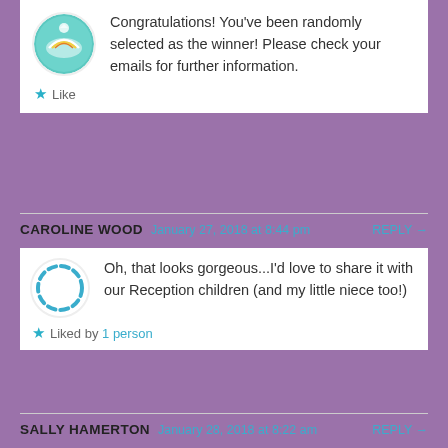Congratulations! You've been randomly selected as the winner! Please check your emails for further information.
Like
CAROLINE WOOD  January 27, 2018 at 8:44 pm  REPLY →
Oh, that looks gorgeous...I'd love to share it with our Reception children (and my little niece too!)
Liked by 1 person
SALLY HAMERTON  January 28, 2018 at 8:22 am  REPLY →